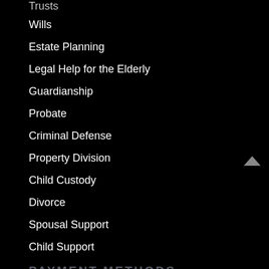Trusts
Wills
Estate Planning
Legal Help for the Elderly
Guardianship
Probate
Criminal Defense
Property Division
Child Custody
Divorce
Spousal Support
Child Support
PAYMENT METHODS
[Figure (other): We Accept payment methods banner image showing 'WE ACCEPT' text in dark blue on white background]